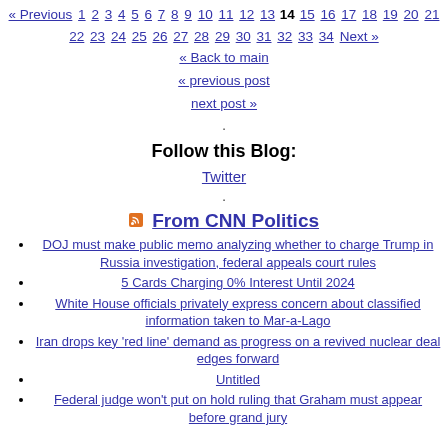« Previous 1 2 3 4 5 6 7 8 9 10 11 12 13 14 15 16 17 18 19 20 21 22 23 24 25 26 27 28 29 30 31 32 33 34 Next »
« Back to main
« previous post
next post »
Follow this Blog:
Twitter
From CNN Politics
DOJ must make public memo analyzing whether to charge Trump in Russia investigation, federal appeals court rules
5 Cards Charging 0% Interest Until 2024
White House officials privately express concern about classified information taken to Mar-a-Lago
Iran drops key 'red line' demand as progress on a revived nuclear deal edges forward
Untitled
Federal judge won't put on hold ruling that Graham must appear before grand jury